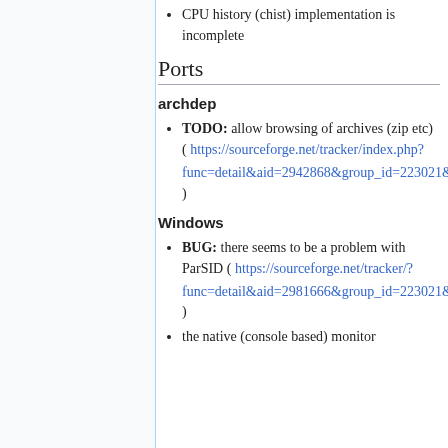CPU history (chist) implementation is incomplete
Ports
archdep
TODO: allow browsing of archives (zip etc) ( https://sourceforge.net/tracker/index.php?func=detail&aid=2942868&group_id=223021&atid=1057620 )
Windows
BUG: there seems to be a problem with ParSID ( https://sourceforge.net/tracker/?func=detail&aid=2981666&group_id=223021&atid=1057617 )
the native (console based) monitor